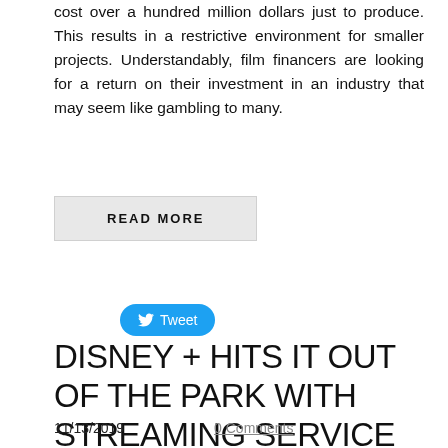cost over a hundred million dollars just to produce. This results in a restrictive environment for smaller projects. Understandably, film financers are looking for a return on their investment in an industry that may seem like gambling to many.
READ MORE
Tweet
DISNEY + HITS IT OUT OF THE PARK WITH STREAMING SERVICE
11/13/2019   0 Comments